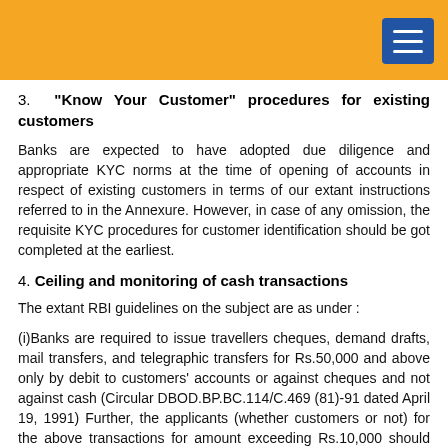3.  "Know Your Customer" procedures for existing customers
Banks are expected to have adopted due diligence and appropriate KYC norms at the time of opening of accounts in respect of existing customers in terms of our extant instructions referred to in the Annexure. However, in case of any omission, the requisite KYC procedures for customer identification should be got completed at the earliest.
4. Ceiling and monitoring of cash transactions
The extant RBI guidelines on the subject are as under :
(i)Banks are required to issue travellers cheques, demand drafts, mail transfers, and telegraphic transfers for Rs.50,000 and above only by debit to customers' accounts or against cheques and not against cash (Circular DBOD.BP.BC.114/C.469 (81)-91 dated April 19, 1991) Further, the applicants (whether customers or not) for the above transactions for amount exceeding Rs.10,000 should affix permanent (Income tax)